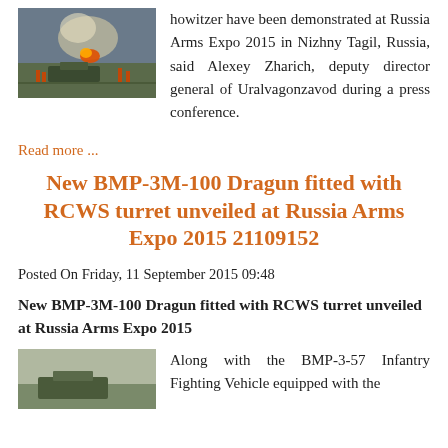[Figure (photo): Military howitzer firing or exploding scene outdoors]
howitzer have been demonstrated at Russia Arms Expo 2015 in Nizhny Tagil, Russia, said Alexey Zharich, deputy director general of Uralvagonzavod during a press conference.
Read more ...
New BMP-3M-100 Dragun fitted with RCWS turret unveiled at Russia Arms Expo 2015 21109152
Posted On Friday, 11 September 2015 09:48
New BMP-3M-100 Dragun fitted with RCWS turret unveiled at Russia Arms Expo 2015
[Figure (photo): Military vehicle photo placeholder]
Along with the BMP-3-57 Infantry Fighting Vehicle equipped with the